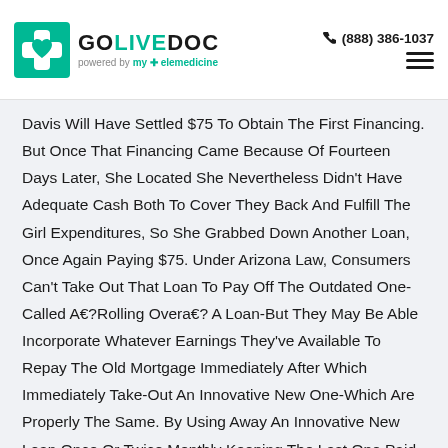GOLIVEDOC powered by my + elemedicine | (888) 386-1037
Davis Will Have Settled $75 To Obtain The First Financing. But Once That Financing Came Because Of Fourteen Days Later, She Located She Nevertheless Didn't Have Adequate Cash Both To Cover They Back And Fulfill The Girl Expenditures, So She Grabbed Down Another Loan, Once Again Paying $75. Under Arizona Law, Consumers Can't Take Out That Loan To Pay Off The Outdated One-Called A€?Rolling Overa€? A Loan-But They May Be Able Incorporate Whatever Earnings They've Available To Repay The Old Mortgage Immediately After Which Immediately Take-Out An Innovative New One-Which Are Properly The Same. By Using Away An Innovative New Loan Once Or Twice Monthly Keeping The Last One Paid, Davis Paid